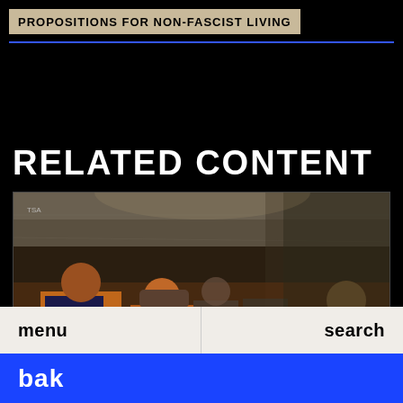PROPOSITIONS FOR NON-FASCIST LIVING
RELATED CONTENT
[Figure (photo): A conference room scene photographed through glass, showing people seated at a long table, one person wearing a dark vest with UN-style lettering. The scene has a reflective, double-exposure quality with warm brown tones and overhead lighting.]
menu   search
bak